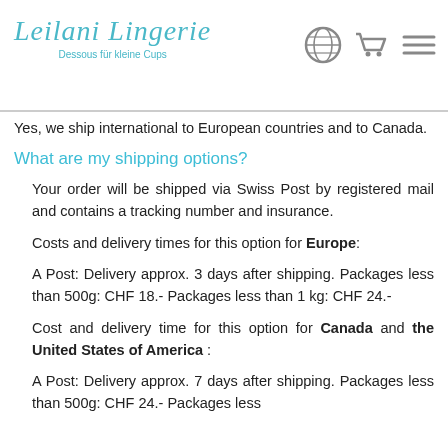Leilani Lingerie — Dessous für kleine Cups
Yes, we ship international to European countries and to Canada.
What are my shipping options?
Your order will be shipped via Swiss Post by registered mail and contains a tracking number and insurance.
Costs and delivery times for this option for Europe:
A Post: Delivery approx. 3 days after shipping. Packages less than 500g: CHF 18.- Packages less than 1 kg: CHF 24.-
Cost and delivery time for this option for Canada and the United States of America :
A Post: Delivery approx. 7 days after shipping. Packages less than 500g: CHF 24.- Packages less